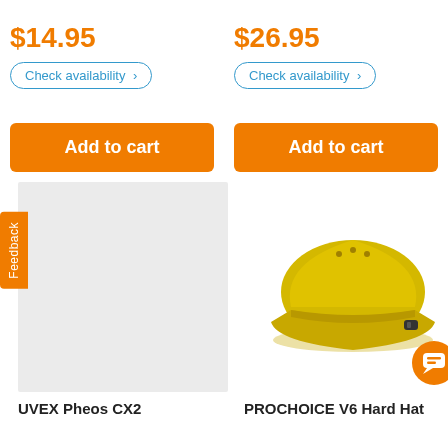$14.95
$26.95
Check availability >
Check availability >
Add to cart
Add to cart
Feedback
[Figure (other): Grey placeholder image box for UVEX Pheos CX2 product]
[Figure (photo): Yellow full-brim hard hat (PROCHOICE V6 Hard Hat) shown from the side on white background]
UVEX Pheos CX2
PROCHOICE V6 Hard Hat